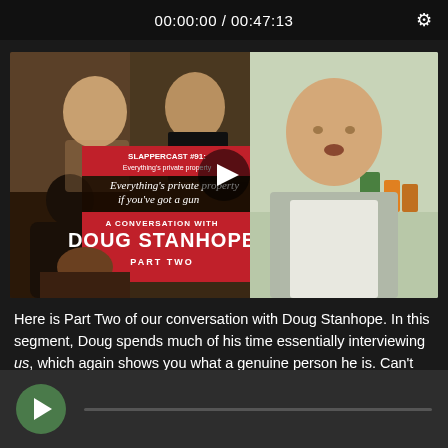00:00:00 / 00:47:13
[Figure (screenshot): Video thumbnail for Slappercast #91: Everything's private property if you've got a gun — A Conversation with Doug Stanhope, Part Two. Shows podcast cover art on the left with text overlay and a bald man talking on the right side. A play button is centered on the thumbnail.]
Here is Part Two of our conversation with Doug Stanhope. In this segment, Doug spends much of his time essentially interviewing us, which again shows you what a genuine person he is. Can't wait to have him on the show again.
[Figure (screenshot): Video player bottom bar with green circular play button on the left and a progress bar to the right.]